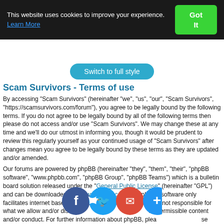This website uses cookies to improve your experience. Learn More  Got It
[Figure (other): Switch to full style button]
Scam Survivors - Terms of use
By accessing “Scam Survivors” (hereinafter “we”, “us”, “our”, “Scam Survivors”, “https://scamsurvivors.com/forum”), you agree to be legally bound by the following terms. If you do not agree to be legally bound by all of the following terms then please do not access and/or use “Scam Survivors”. We may change these at any time and we’ll do our utmost in informing you, though it would be prudent to review this regularly yourself as your continued usage of “Scam Survivors” after changes mean you agree to be legally bound by these terms as they are updated and/or amended.
Our forums are powered by phpBB (hereinafter “they”, “them”, “their”, “phpBB software”, “www.phpbb.com”, “phpBB Group”, “phpBB Teams”) which is a bulletin board solution released under the “General Public License” (hereinafter “GPL”) and can be downloaded from www.phpbb.com. The phpBB software only facilitates internet based discussions, the phpBB Group are not responsible for what we allow and/or disallow as permissible content and/or conduct. For further information about phpBB, please see https://www.phpbb.com/.
[Figure (other): Social sharing icons: Facebook, Twitter, Email, Add]